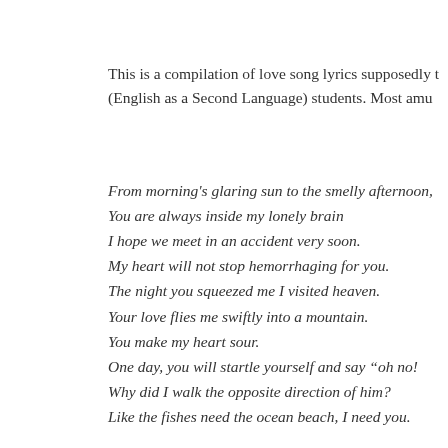This is a compilation of love song lyrics supposedly t(English as a Second Language) students. Most amu
From morning's glaring sun to the smelly afternoon,
You are always inside my lonely brain
I hope we meet in an accident very soon.
My heart will not stop hemorrhaging for you.
The night you squeezed me I visited heaven.
Your love flies me swiftly into a mountain.
You make my heart sour.
One day, you will startle yourself and say "oh no!
Why did I walk the opposite direction of him?
Like the fishes need the ocean beach, I need you.